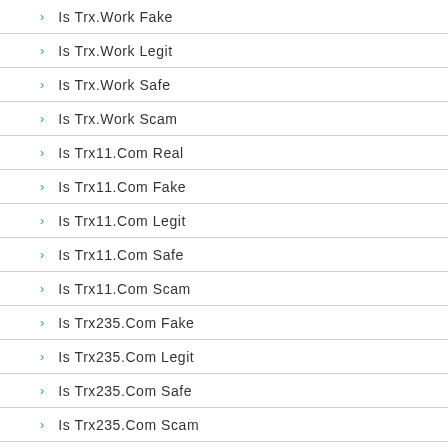Is Trx.Work Fake
Is Trx.Work Legit
Is Trx.Work Safe
Is Trx.Work Scam
Is Trx11.Com Real
Is Trx11.Com Fake
Is Trx11.Com Legit
Is Trx11.Com Safe
Is Trx11.Com Scam
Is Trx235.Com Fake
Is Trx235.Com Legit
Is Trx235.Com Safe
Is Trx235.Com Scam